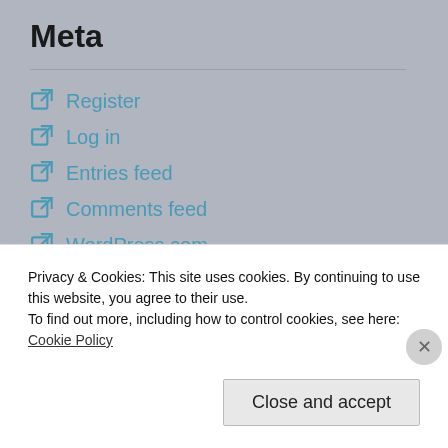Meta
Register
Log in
Entries feed
Comments feed
WordPress.com
Advertisements
[Figure (screenshot): Advertisement banner: left half shows a blurry outdoor photo, right half shows a dark navy background with a white square containing a bold 'P' letter logo]
Privacy & Cookies: This site uses cookies. By continuing to use this website, you agree to their use.
To find out more, including how to control cookies, see here: Cookie Policy
Close and accept